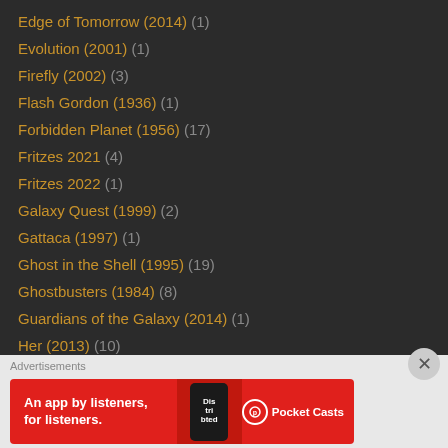Edge of Tomorrow (2014) (1)
Evolution (2001) (1)
Firefly (2002) (3)
Flash Gordon (1936) (1)
Forbidden Planet (1956) (17)
Fritzes 2021 (4)
Fritzes 2022 (1)
Galaxy Quest (1999) (2)
Gattaca (1997) (1)
Ghost in the Shell (1995) (19)
Ghostbusters (1984) (8)
Guardians of the Galaxy (2014) (1)
Her (2013) (10)
Hitchhicker's Guide the Galaxy (2005) (1)
Idiocracy (2006) (19)
Independence Day (1996) (2)
Inside Out (2015) (1)
Advertisements
[Figure (other): Pocket Casts advertisement banner: red background with phone image and text 'An app by listeners, for listeners.' with Pocket Casts logo]